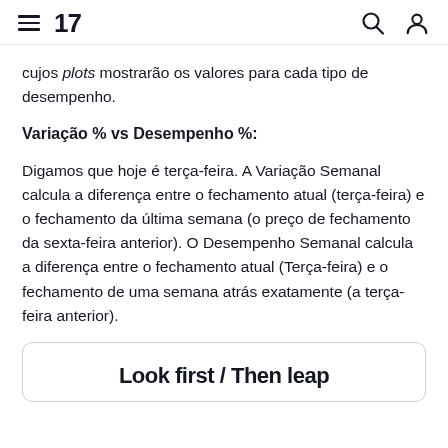TradingView navigation header
cujos plots mostrarão os valores para cada tipo de desempenho.
Variação % vs Desempenho %:
Digamos que hoje é terça-feira. A Variação Semanal calcula a diferença entre o fechamento atual (terça-feira) e o fechamento da última semana (o preço de fechamento da sexta-feira anterior). O Desempenho Semanal calcula a diferença entre o fechamento atual (Terça-feira) e o fechamento de uma semana atrás exatamente (a terça-feira anterior).
Look first / Then leap